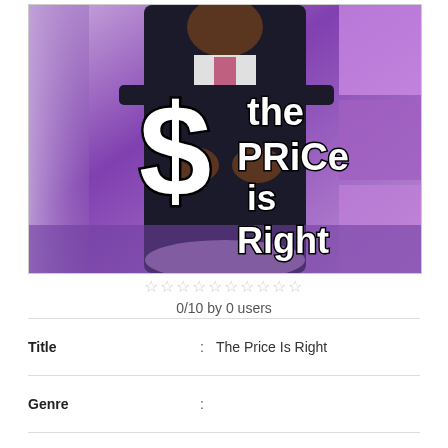[Figure (photo): Promotional image for 'The Price Is Right' TV show. A man in a dark suit stands against a purple/lavender background with the show's logo overlaid in white: a dollar sign symbol alongside the text 'the PRiCe is Right' in bold stylized lettering.]
0/10 by 0 users
| Title | : | The Price Is Right |
| Genre | : |  |
| Air Date | : | 1974-08-14 |